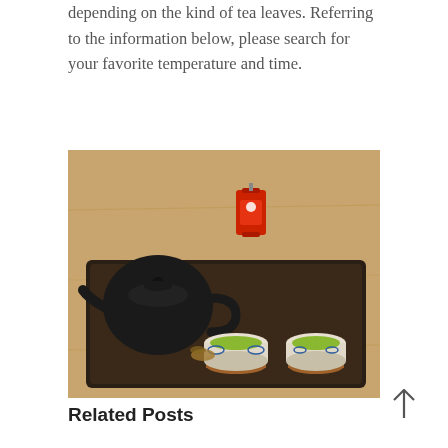depending on the kind of tea leaves. Referring to the information below, please search for your favorite temperature and time.
[Figure (photo): A dark wooden tray on a wooden table holding a black clay teapot, two white and blue porcelain cups filled with green tea on wooden coasters, and a small red hourglass lantern in the background.]
Related Posts